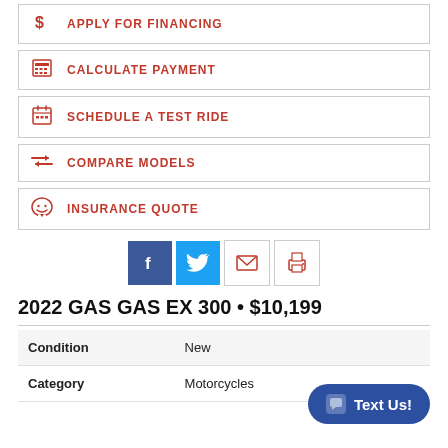$ APPLY FOR FINANCING
CALCULATE PAYMENT
SCHEDULE A TEST RIDE
COMPARE MODELS
INSURANCE QUOTE
[Figure (infographic): Social sharing icons: Facebook, Twitter, Email, Print]
2022 GAS GAS EX 300 • $10,199
|  |  |
| --- | --- |
| Condition | New |
| Category | Motorcycles |